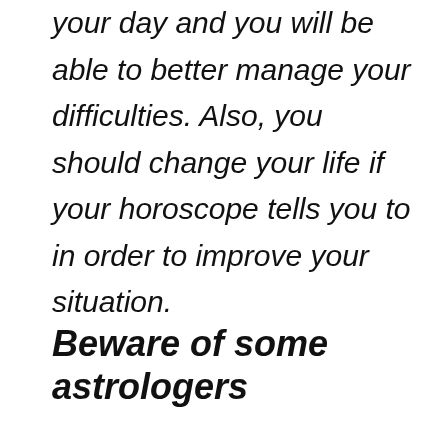your day and you will be able to better manage your difficulties. Also, you should change your life if your horoscope tells you to in order to improve your situation.
Beware of some astrologers